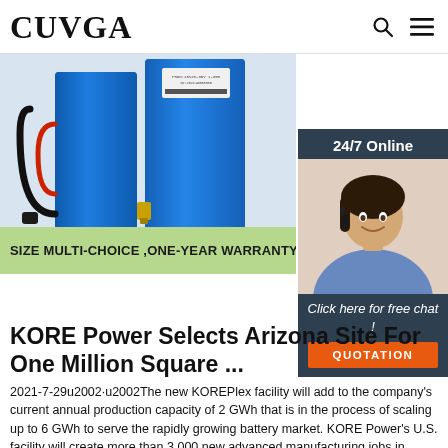CUVGA
[Figure (photo): Blue lithium battery packs with wiring and connectors, with a green banner reading SIZE MULTI-CHOICE ,ONE-YEAR WARRANTY]
[Figure (photo): Customer service representative with headset smiling, with 24/7 Online label, Click here for free chat text, and QUOTATION button]
KORE Power Selects Arizona Site For One Million Square ...
2021-7-29u2002·u2002The new KOREPlex facility will add to the company's current annual production capacity of 2 GWh that is in the process of scaling up to 6 GWh to serve the rapidly growing battery market. KORE Power's U.S. facility will create more than 3,000 new advanced manufacturing jobs in Arizona and will strengthen U.S. energy security by creating a